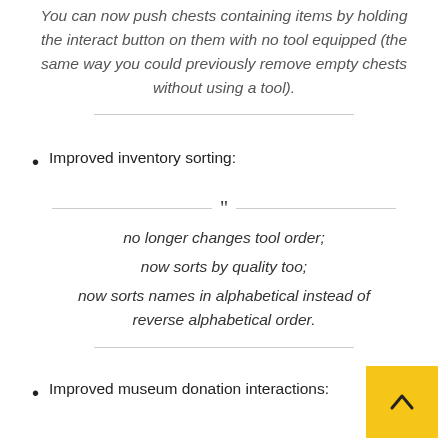You can now push chests containing items by holding the interact button on them with no tool equipped (the same way you could previously remove empty chests without using a tool).
Improved inventory sorting:
no longer changes tool order; now sorts by quality too; now sorts names in alphabetical instead of reverse alphabetical order.
Improved museum donation interactions: